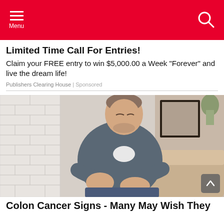Menu
Limited Time Call For Entries!
Claim your FREE entry to win $5,000.00 a Week “Forever” and live the dream life!
Publishers Clearing House | Sponsored
[Figure (photo): Middle-aged man in grey sweater holding his abdomen in pain, indoors with white brick wall background]
Colon Cancer Signs - Many May Wish They